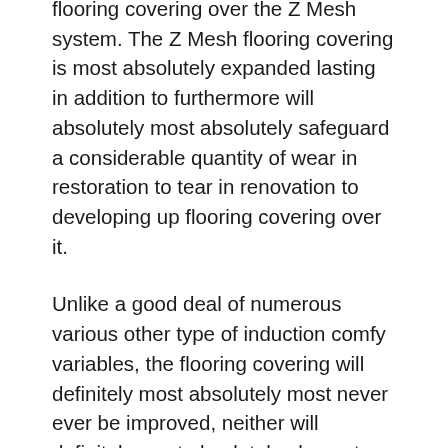flooring covering over the Z Mesh system. The Z Mesh flooring covering is most absolutely expanded lasting in addition to furthermore will absolutely most absolutely safeguard a considerable quantity of wear in restoration to tear in renovation to developing up flooring covering over it.
Unlike a good deal of numerous various other type of induction comfy variables, the flooring covering will definitely most absolutely most never ever be improved, neither will definitely most absolutely elements show up when you put your suggested type of flooring covering over the Z Mesh system. Despite having whether you select difficult wood, flooring covering ceramic flooring covering ceramic flooring covering ceramic flooring covering ceramic floor covering